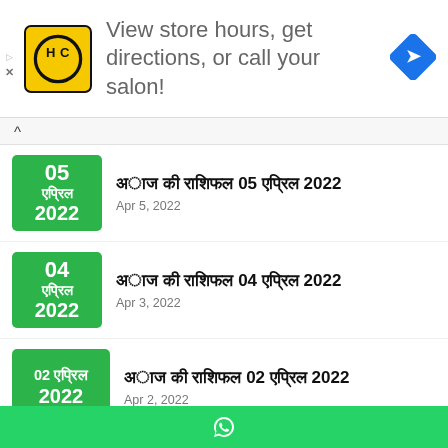[Figure (infographic): Ad banner: HC logo (yellow/black), text 'View store hours, get directions, or call your salon!', blue navigation arrow icon]
Hindi text title 05 एप्रिल 2022 | Apr 5, 2022
Hindi text title 04 एप्रिल 2022 | Apr 3, 2022
Hindi text title 02 एप्रिल 2022 | Apr 2, 2022
Hindi text title 01 (partial)
[Figure (logo): WhatsApp green bottom bar with WhatsApp icon]